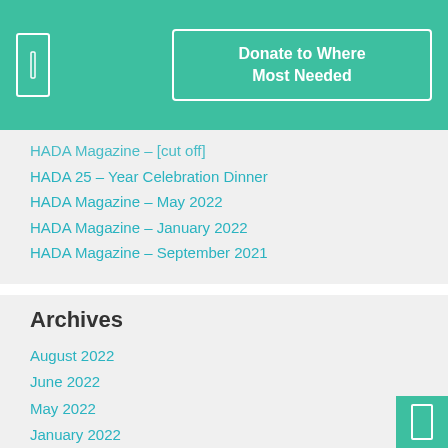Donate to Where Most Needed
HADA Magazine – [partial, cut off]
HADA 25 – Year Celebration Dinner
HADA Magazine – May 2022
HADA Magazine – January 2022
HADA Magazine – September 2021
Archives
August 2022
June 2022
May 2022
January 2022
September 2021
June 2020